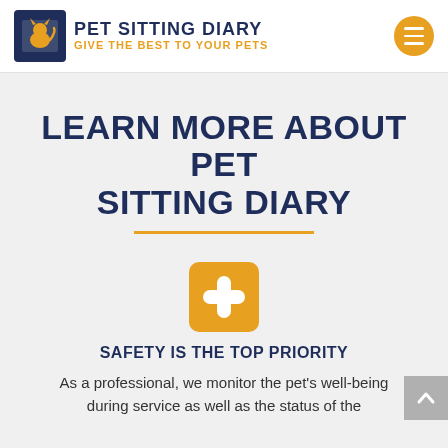PET SITTING DIARY — GIVE THE BEST TO YOUR PETS
LEARN MORE ABOUT PET SITTING DIARY
[Figure (illustration): Orange rounded square icon with a white plus/cross symbol representing safety or first aid]
SAFETY IS THE TOP PRIORITY
As a professional, we monitor the pet's well-being during service as well as the status of the